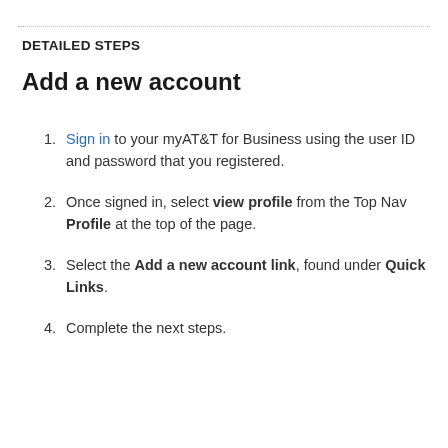DETAILED STEPS
Add a new account
Sign in to your myAT&T for Business using the user ID and password that you registered.
Once signed in, select view profile from the Top Nav Profile at the top of the page.
Select the Add a new account link, found under Quick Links.
Complete the next steps.